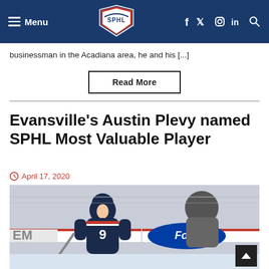Menu | SPHL | f y © in Q
businessman in the Acadiana area, he and his [...]
Read More
Evansville's Austin Plevy named SPHL Most Valuable Player
April 17, 2020
[Figure (photo): Hockey player wearing jersey number 9 in a navy blue uniform skating on ice, with a Ford logo advertisement visible on the boards behind him and a spectator in the background.]